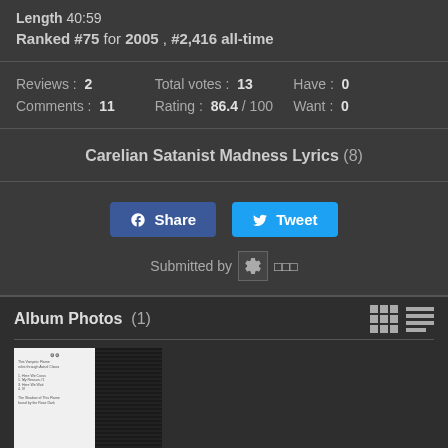Length  40:59
Ranked  #75 for 2005 , #2,416 all-time
Reviews : 2    Total votes : 13    Have : 0
Comments : 11    Rating : 86.4 / 100    Want : 0
Carelian Satanist Madness Lyrics (8)
[Figure (other): Facebook Share button and Twitter Tweet button]
Submitted by [avatar] [username]
Album Photos  (1)
[Figure (photo): Album photo thumbnail showing album cover for Carelian Satanist Madness]